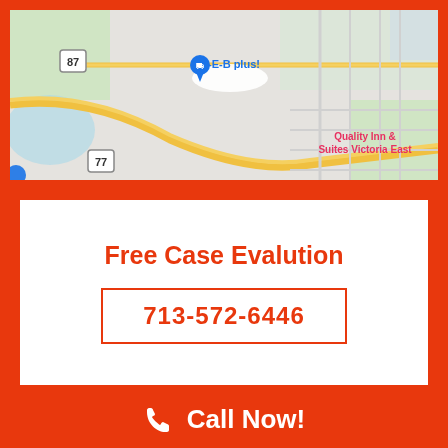[Figure (map): Google Maps screenshot showing roads near Victoria, TX with H-E-B plus! marker, route 87, route 77, and Quality Inn & Suites Victoria East label]
Free Case Evalution
713-572-6446
Call Now!